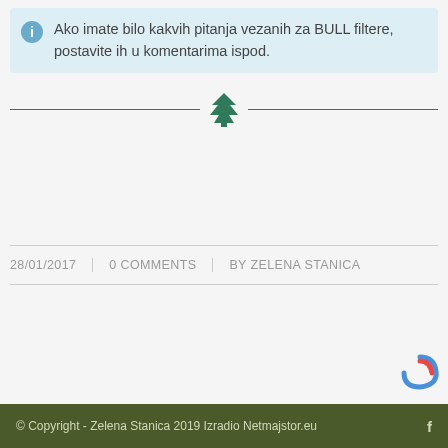Ako imate bilo kakvih pitanja vezanih za BULL filtere, postavite ih u komentarima ispod.
[Figure (illustration): Decorative divider with a dark green tree icon in the center and horizontal lines on both sides]
28/01/2017   0 COMMENTS   BY ZELENA STANICA
© Copyright - Zelena Stanica 2019 Izradio Netmajstor.eu